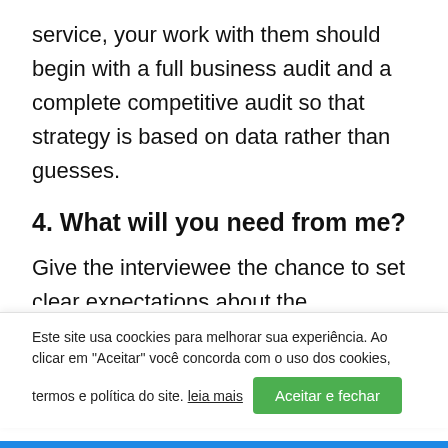service, your work with them should begin with a full business audit and a complete competitive audit so that strategy is based on data rather than guesses.
4. What will you need from me?
Give the interviewee the chance to set clear expectations about the deliverables they will need from you and the time they may need to
Este site usa coockies para melhorar sua experiência. Ao clicar em "Aceitar" você concorda com o uso dos cookies, termos e política do site. leia mais
Aceitar e fechar